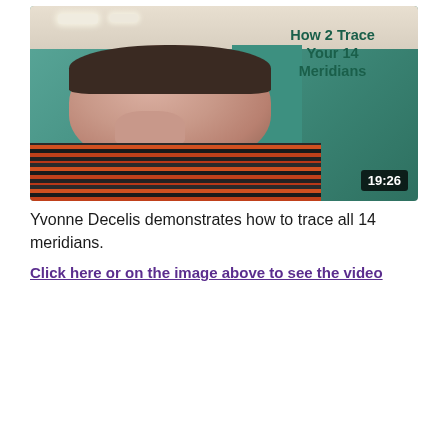[Figure (screenshot): Video thumbnail showing a woman (Yvonne Decelis) facing camera in a room with teal/green wall. Text overlay reads 'How 2 Trace Your 14 Meridians' in dark green bold font. Duration badge shows 19:26 in white on dark background.]
Yvonne Decelis demonstrates how to trace all 14 meridians.
Click here or on the image above to see the video